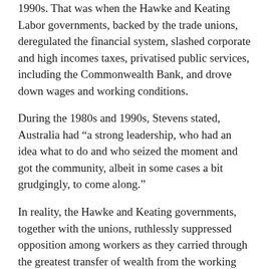1990s. That was when the Hawke and Keating Labor governments, backed by the trade unions, deregulated the financial system, slashed corporate and high incomes taxes, privatised public services, including the Commonwealth Bank, and drove down wages and working conditions.
During the 1980s and 1990s, Stevens stated, Australia had “a strong leadership, who had an idea what to do and who seized the moment and got the community, albeit in some cases a bit grudgingly, to come along.”
In reality, the Hawke and Keating governments, together with the unions, ruthlessly suppressed opposition among workers as they carried through the greatest transfer of wealth from the working class to the wealthiest layers of society in Australia’s history. Stevens’ invocation of that record is a warning of an even deeper offensive that will be launched after the July 2 election, regardless of whether